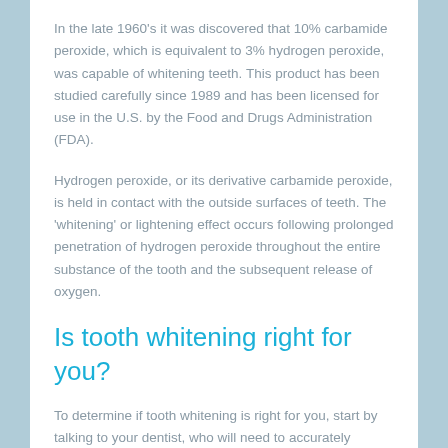In the late 1960's it was discovered that 10% carbamide peroxide, which is equivalent to 3% hydrogen peroxide, was capable of whitening teeth. This product has been studied carefully since 1989 and has been licensed for use in the U.S. by the Food and Drugs Administration (FDA).
Hydrogen peroxide, or its derivative carbamide peroxide, is held in contact with the outside surfaces of teeth. The 'whitening' or lightening effect occurs following prolonged penetration of hydrogen peroxide throughout the entire substance of the tooth and the subsequent release of oxygen.
Is tooth whitening right for you?
To determine if tooth whitening is right for you, start by talking to your dentist, who will need to accurately assess